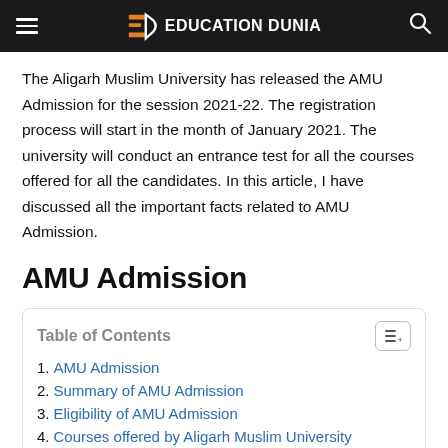EDUCATION DUNIA
The Aligarh Muslim University has released the AMU Admission for the session 2021-22. The registration process will start in the month of January 2021. The university will conduct an entrance test for all the courses offered for all the candidates. In this article, I have discussed all the important facts related to AMU Admission.
AMU Admission
Table of Contents
1. AMU Admission
2. Summary of AMU Admission
3. Eligibility of AMU Admission
4. Courses offered by Aligarh Muslim University
5. Eligibility for courses of AMU